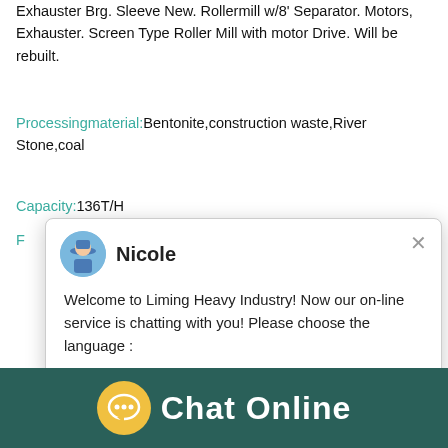Exhauster Brg. Sleeve New. Rollermill w/8' Separator. Motors, Exhauster. Screen Type Roller Mill with motor Drive. Will be rebuilt.
Processingmaterial: Bentonite,construction waste,River Stone,coal
Capacity: 136T/H
[Figure (screenshot): Chat popup from Nicole at Liming Heavy Industry saying: Welcome to Liming Heavy Industry! Now our on-line service is chatting with you! Please choose the language :]
[Figure (photo): Quarry/mining site with green mountains in background and industrial equipment. On the right, an industrial machine (roller mill) with a blue circular badge showing '1' and a button 'Click me to chat>>']
Chat Online